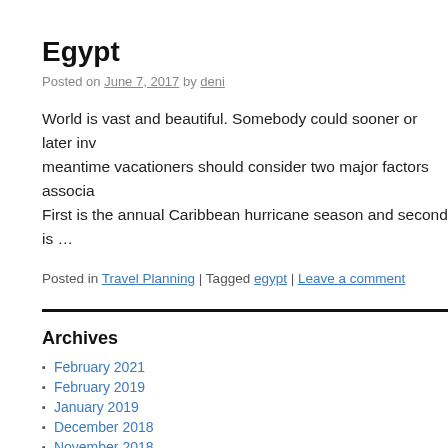Egypt
Posted on June 7, 2017 by deni
World is vast and beautiful. Somebody could sooner or later inv... meantime vacationers should consider two major factors associ... First is the annual Caribbean hurricane season and second is …
Posted in Travel Planning | Tagged egypt | Leave a comment
Archives
February 2021
February 2019
January 2019
December 2018
November 2018
October 2018
September 2018
August 2018
July 2018